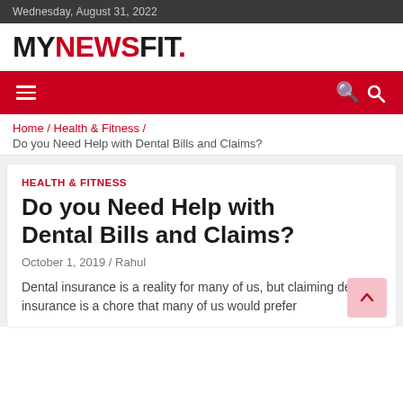Wednesday, August 31, 2022
MYNEWSFIT.
Home / Health & Fitness / Do you Need Help with Dental Bills and Claims?
HEALTH & FITNESS
Do you Need Help with Dental Bills and Claims?
October 1, 2019 / Rahul
Dental insurance is a reality for many of us, but claiming dental insurance is a chore that many of us would prefer